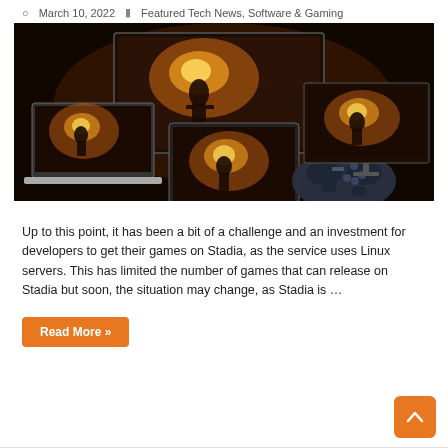March 10, 2022   Featured Tech News, Software & Gaming
[Figure (photo): Gaming promotional image showing multiple screens (TV, laptop, tablet, phone) and a Stadia controller displaying a sci-fi shooter game with a space-suited character amid explosions]
Up to this point, it has been a bit of a challenge and an investment for developers to get their games on Stadia, as the service uses Linux servers. This has limited the number of games that can release on Stadia but soon, the situation may change, as Stadia is …
Read More »